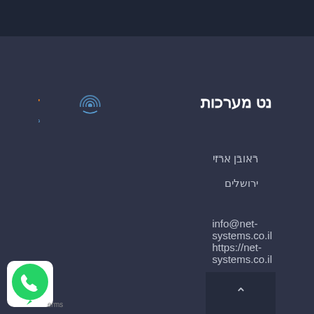נט מערכות
[Figure (logo): NET systems logo with fingerprint icon, orange and blue text]
ראובן ארזי
ירושלים
info@net-systems.co.il
https://net-systems.co.il